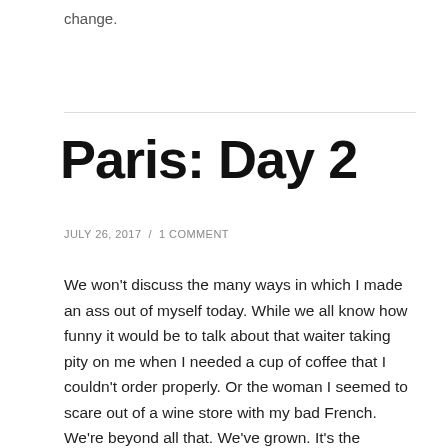change.
Paris: Day 2
JULY 26, 2017  /  1 COMMENT
We won't discuss the many ways in which I made an ass out of myself today. While we all know how funny it would be to talk about that waiter taking pity on me when I needed a cup of coffee that I couldn't order properly. Or the woman I seemed to scare out of a wine store with my bad French. We're beyond all that. We've grown. It's the Summer of Yes. We're positive now. Well